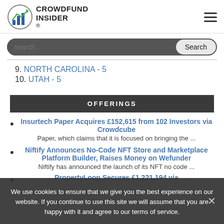CROWDFUND INSIDER
9. NORTH CAROLINA - 5
10. UTAH - 5
OFFERINGS
Insurtech Paper Acquires £152,615 from 102 Investors via Crowdcube
Paper, which claims that it is focused on bringing the ...
Niftify Announces No-Code NFT Store and Marketplace Platform Builder, Raises Money on Wefunder
Niftify has announced the launch of its NFT no code ...
PropertyLoop Secures £1,221,194 via
We use cookies to ensure that we give you the best experience on our website. If you continue to use this site we will assume that you are happy with it and agree to our terms of service.